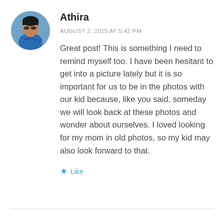[Figure (photo): Circular avatar photo of Athira, a woman wearing sunglasses and a blue top]
Athira
AUGUST 2, 2015 AT 5:42 PM
Great post! This is something I need to remind myself too. I have been hesitant to get into a picture lately but it is so important for us to be in the photos with our kid because, like you said, someday we will look back at these photos and wonder about ourselves. I loved looking for my mom in old photos, so my kid may also look forward to that.
★ Like